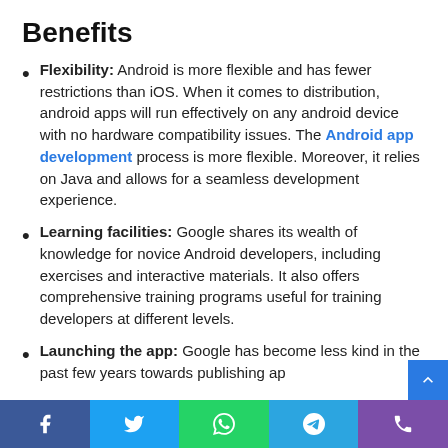Benefits
Flexibility: Android is more flexible and has fewer restrictions than iOS. When it comes to distribution, android apps will run effectively on any android device with no hardware compatibility issues. The Android app development process is more flexible. Moreover, it relies on Java and allows for a seamless development experience.
Learning facilities: Google shares its wealth of knowledge for novice Android developers, including exercises and interactive materials. It also offers comprehensive training programs useful for training developers at different levels.
Launching the app: Google has become less kind in the past few years towards publishing ap…